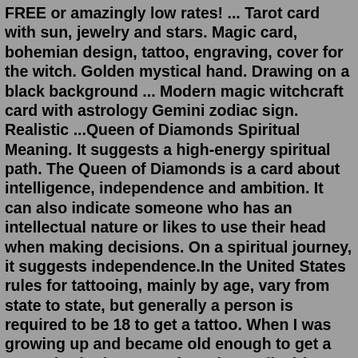FREE or amazingly low rates! ... Tarot card with sun, jewelry and stars. Magic card, bohemian design, tattoo, engraving, cover for the witch. Golden mystical hand. Drawing on a black background ... Modern magic witchcraft card with astrology Gemini zodiac sign. Realistic ...Queen of Diamonds Spiritual Meaning. It suggests a high-energy spiritual path. The Queen of Diamonds is a card about intelligence, independence and ambition. It can also indicate someone who has an intellectual nature or likes to use their head when making decisions. On a spiritual journey, it suggests independence.In the United States rules for tattooing, mainly by age, vary from state to state, but generally a person is required to be 18 to get a tattoo. When I was growing up and became old enough to get a tattoo (18 in the state of North Carolina) in 1986, the connotations for being tattooed were pointedly negative, unless you were in military service.1.2M views. Discover short videos related to gemini tarot reading for feb 2022 on TikTok. Watch popular content from the following creators: